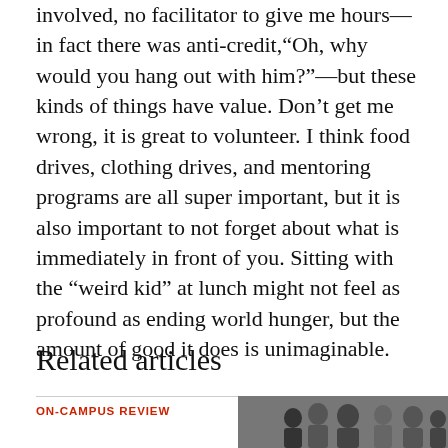involved, no facilitator to give me hours—in fact there was anti-credit,“Oh, why would you hang out with him?”—but these kinds of things have value. Don’t get me wrong, it is great to volunteer. I think food drives, clothing drives, and mentoring programs are all super important, but it is also important to not forget about what is immediately in front of you. Sitting with the “weird kid” at lunch might not feel as profound as ending world hunger, but the amount of good it does is unimaginable.
Related articles
ON-CAMPUS REVIEW
[Figure (photo): Group of people photographed together, partially visible at bottom right of page]